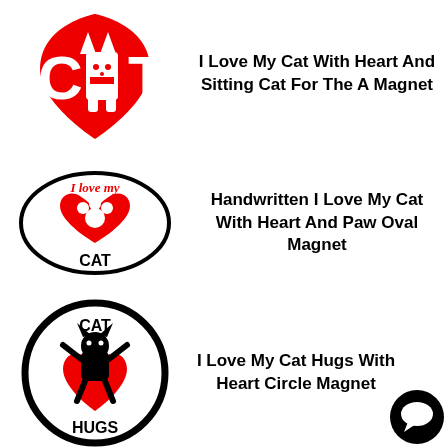[Figure (illustration): Red heart-shield shape with 'CAT' text where the 'A' is replaced by a sitting white cat silhouette]
I Love My Cat With Heart And Sitting Cat For The A Magnet
[Figure (illustration): Oval bumper magnet with black border, cursive 'I love my' text in red at top, a red heart with white paw print in center, and 'CAT' in bold black text at bottom]
Handwritten I Love My Cat With Heart And Paw Oval Magnet
[Figure (illustration): Circle magnet with thick black border, 'CAT' text at top, black cat silhouette with arms raised over a red heart, and 'HUGS' text at bottom]
I Love My Cat Hugs With Heart Circle Magnet